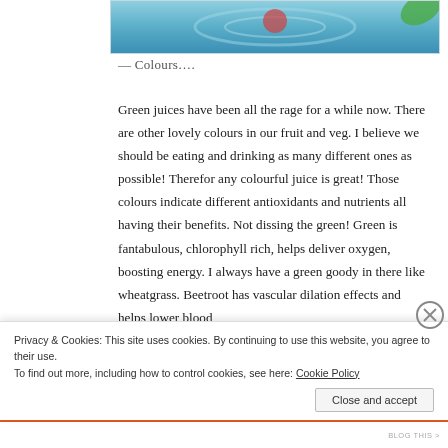[Figure (photo): Top portion of a photo showing a blue-toned liquid or juice in a bowl/container, partially cropped at the top of the page]
— Colours….
Green juices have been all the rage for a while now. There are other lovely colours in our fruit and veg. I believe we should be eating and drinking as many different ones as possible! Therefor any colourful juice is great! Those colours indicate different antioxidants and nutrients all having their benefits. Not dissing the green! Green is fantabulous, chlorophyll rich, helps deliver oxygen, boosting energy. I always have a green goody in there like wheatgrass. Beetroot has vascular dilation effects and helps lower blood
Privacy & Cookies: This site uses cookies. By continuing to use this website, you agree to their use.
To find out more, including how to control cookies, see here: Cookie Policy